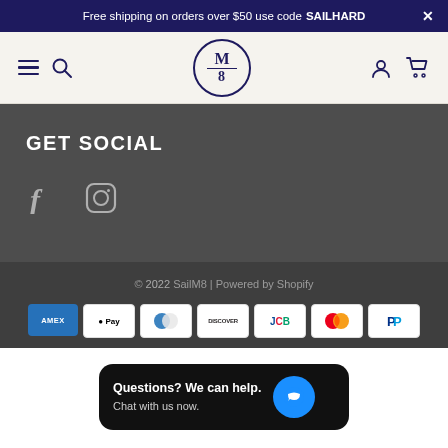Free shipping on orders over $50 use code SAILHARD
[Figure (logo): SailM8 logo: circle with M over 8, hamburger menu, search icon, user icon, cart icon navigation bar]
GET SOCIAL
[Figure (illustration): Facebook and Instagram social media icons]
© 2022 SailM8 | Powered by Shopify
[Figure (other): Payment method icons: Amex, Apple Pay, Diners, Discover, JCB, Mastercard, PayPal]
[Figure (screenshot): Chat widget popup: Questions? We can help. Chat with us now.]